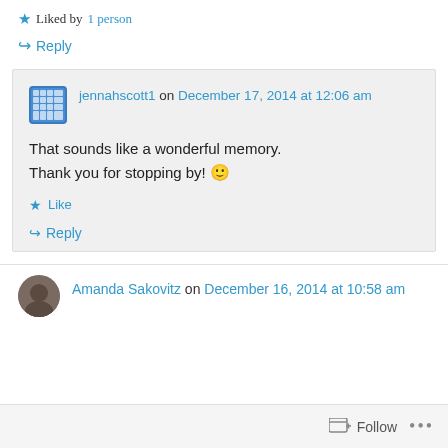★ Liked by 1 person
↪ Reply
jennahscott1 on December 17, 2014 at 12:06 am
That sounds like a wonderful memory. Thank you for stopping by! 🙂
★ Like
↪ Reply
Amanda Sakovitz on December 16, 2014 at 10:58 am